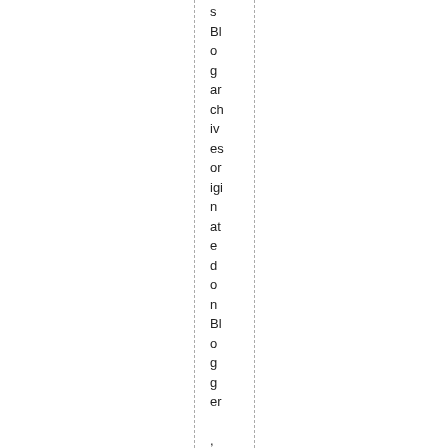s Bl o g ar ch iv es or igi n at e d on Bl o g g er , a n d h a d to d